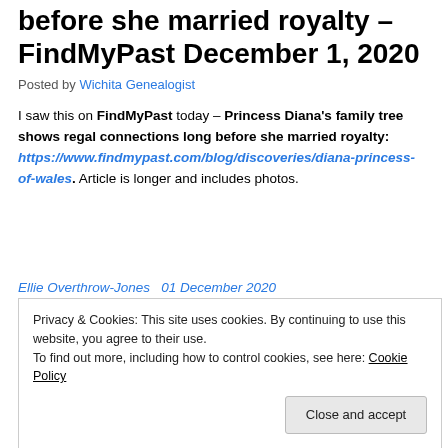before she married royalty – FindMyPast December 1, 2020
Posted by Wichita Genealogist
I saw this on FindMyPast today – Princess Diana's family tree shows regal connections long before she married royalty: https://www.findmypast.com/blog/discoveries/diana-princess-of-wales. Article is longer and includes photos.
Ellie Overthrow-Jones  01 December 2020
Privacy & Cookies: This site uses cookies. By continuing to use this website, you agree to their use.
To find out more, including how to control cookies, see here: Cookie Policy
Close and accept
and Winston Churchill?